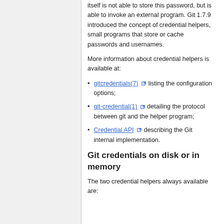itself is not able to store this password, but is able to invoke an external program. Git 1.7.9 introduced the concept of credential helpers, small programs that store or cache passwords and usernames.
More information about credential helpers is available at:
gitcredentials(7) [external link] listing the configuration options;
git-credential(1) [external link] detailing the protocol between git and the helper program;
Credential API [external link] describing the Git internal implementation.
Git credentials on disk or in memory
The two credential helpers always available are: